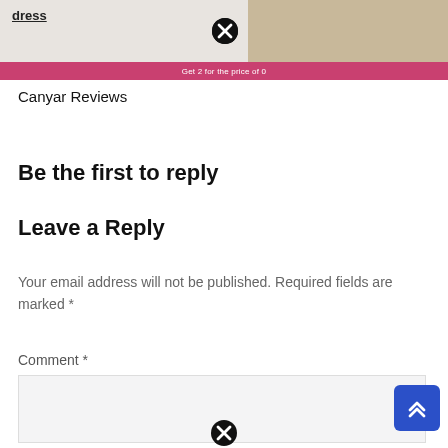[Figure (screenshot): Ad banner at top showing partial text 'dress' with underline, a close (X) button, and a decorative image of clothing on the right side]
Get 2 for the price of 0
Canyar Reviews
Be the first to reply
Leave a Reply
Your email address will not be published. Required fields are marked *
Comment *
[Figure (screenshot): Comment input text area (empty, light gray background) with a blue scroll-to-top button (double chevron up) in the bottom right, and a close (X) button at the very bottom center]